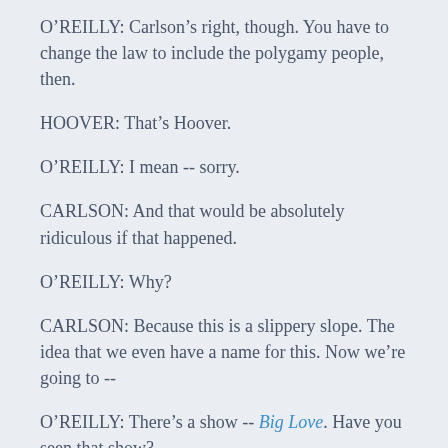O'REILLY: Carlson's right, though. You have to change the law to include the polygamy people, then.
HOOVER: That's Hoover.
O'REILLY: I mean -- sorry.
CARLSON: And that would be absolutely ridiculous if that happened.
O'REILLY: Why?
CARLSON: Because this is a slippery slope. The idea that we even have a name for this. Now we're going to --
O'REILLY: There's a show -- Big Love. Have you seen that show?